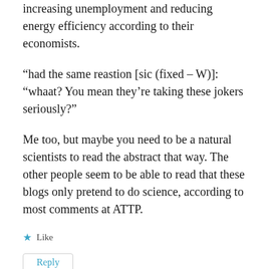increasing unemployment and reducing energy efficiency according to their economists.
“had the same reastion [sic (fixed – W)]: “whaat? You mean they’re taking these jokers seriously?”
Me too, but maybe you need to be a natural scientists to read the abstract that way. The other people seem to be able to read that these blogs only pretend to do science, according to most comments at ATTP.
★ Like
Reply